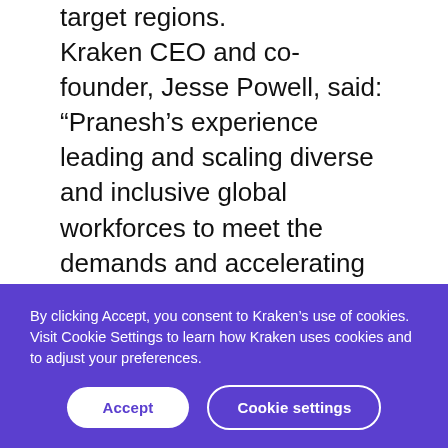target regions. Kraken CEO and co-founder, Jesse Powell, said: “Pranesh’s experience leading and scaling diverse and inclusive global workforces to meet the demands and accelerating business needs of industry-disrupting companies is essential as we work to bring billions of people into the crypto ecosystem.” 2021 has been a record year for Kraken. Combined, spot and derivative trading
By clicking Accept, you consent to Kraken’s use of cookies. Visit Cookie Settings to learn how Kraken uses cookies and to adjust your preferences.